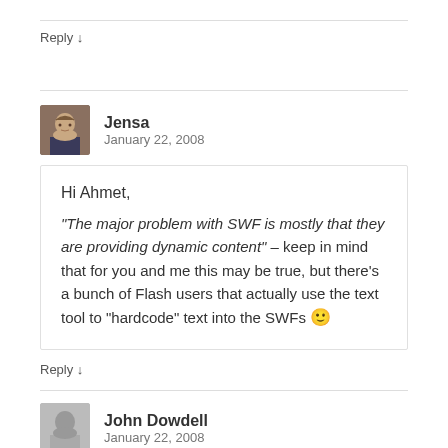Reply ↓
Jensa
January 22, 2008
Hi Ahmet,
“The major problem with SWF is mostly that they are providing dynamic content” – keep in mind that for you and me this may be true, but there’s a bunch of Flash users that actually use the text tool to “hardcode” text into the SWFs 🙂
Reply ↓
John Dowdell
January 22, 2008